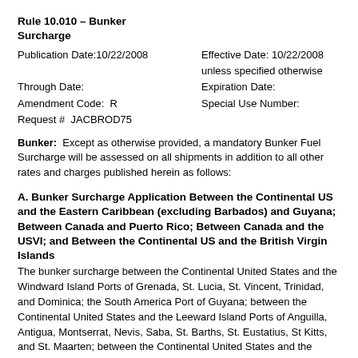Rule 10.010 – Bunker Surcharge
Publication Date:10/22/2008   Effective Date: 10/22/2008 unless specified otherwise
Through Date:   Expiration Date:
Amendment Code:  R   Special Use Number:
Request #  JACBROD75
Bunker: Except as otherwise provided, a mandatory Bunker Fuel Surcharge will be assessed on all shipments in addition to all other rates and charges published herein as follows:
A. Bunker Surcharge Application Between the Continental US and the Eastern Caribbean (excluding Barbados) and Guyana; Between Canada and Puerto Rico; Between Canada and the USVI; and Between the Continental US and the British Virgin Islands
The bunker surcharge between the Continental United States and the Windward Island Ports of Grenada, St. Lucia, St. Vincent, Trinidad, and Dominica; the South America Port of Guyana; between the Continental United States and the Leeward Island Ports of Anguilla, Antigua, Montserrat, Nevis, Saba, St. Barths, St. Eustatius, St Kitts, and St. Maarten; between the Continental United States and the British Virgin Island Ports of Tortola and Virgin Gorda; between Canada and Puerto Rico, and between Canada and the US Virgin Island Ports of St. Thomas, St. Croix, and St. John shall be based on the eight week running average of the West Texas Intermediate (WTI) Cushing Spot price.